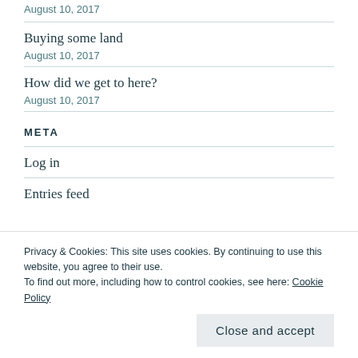August 10, 2017
Buying some land
August 10, 2017
How did we get to here?
August 10, 2017
META
Log in
Entries feed
Privacy & Cookies: This site uses cookies. By continuing to use this website, you agree to their use.
To find out more, including how to control cookies, see here: Cookie Policy
Close and accept